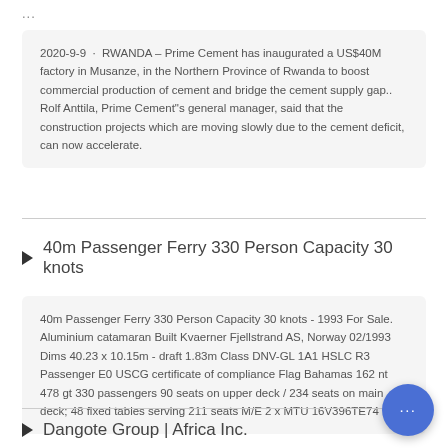...
2020-9-9 · RWANDA – Prime Cement has inaugurated a US$40M factory in Musanze, in the Northern Province of Rwanda to boost commercial production of cement and bridge the cement supply gap.. Rolf Anttila, Prime Cement"s general manager, said that the construction projects which are moving slowly due to the cement deficit, can now accelerate.
40m Passenger Ferry 330 Person Capacity 30 knots
40m Passenger Ferry 330 Person Capacity 30 knots - 1993 For Sale. Aluminium catamaran Built Kvaerner Fjellstrand AS, Norway 02/1993 Dims 40.23 x 10.15m - draft 1.83m Class DNV-GL 1A1 HSLC R3 Passenger E0 USCG certificate of compliance Flag Bahamas 162 nt 478 gt 330 passengers 90 seats on upper deck / 234 seats on main deck; 48 fixed tables serving 211 seats M/E 2 x MTU 16V396TE74 ...
Dangote Group | Africa Inc.